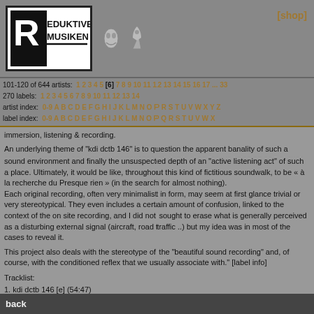[Figure (logo): Reduktive Musiken logo — black and white RM logo with text]
[shop]
101-120 of 644 artists: 1 2 3 4 5 [6] 7 8 9 10 11 12 13 14 15 16 17 ... 33
270 labels: 1 2 3 4 5 6 7 8 9 10 11 12 13 14
artist index: 0-9 A B C D E F G H I J K L M N O P R S T U V W X Y Z
label index: 0-9 A B C D E F G H I J K L M N O P Q R S T U V W X
immersion, listening & recording.
An underlying theme of "kdi dctb 146" is to question the apparent banality of such a sound environment and finally the unsuspected depth of an "active listening act" of such a place. Ultimately, it would be like, throughout this kind of fictitious soundwalk, to be « à la recherche du Presque rien » (in the search for almost nothing).
Each original recording, often very minimalist in form, may seem at first glance trivial or very stereotypical. They even includes a certain amount of confusion, linked to the context of the on site recording, and I did not sought to erase what is generally perceived as a disturbing external signal (aircraft, road traffic ..) but my idea was in most of the cases to reveal it.
This project also deals with the stereotype of the "beautiful sound recording" and, of course, with the conditioned reflex that we usually associate with." [label info]
Tracklist:
1. kdi dctb 146 [e] (54:47)
price: 12.00 euro
back